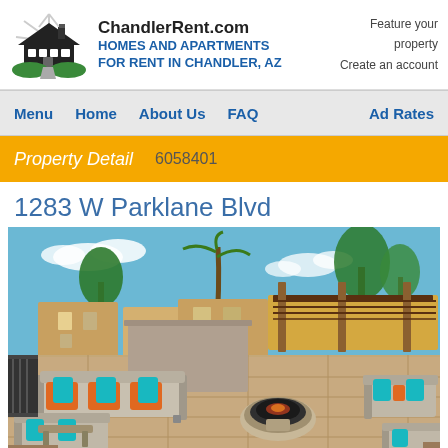ChandlerRent.com HOMES AND APARTMENTS FOR RENT IN CHANDLER, AZ | Feature your property Create an account
Menu  Home  About Us  FAQ  Ad Rates
Property Detail  6058401
1283 W Parklane Blvd
[Figure (photo): Outdoor apartment complex courtyard with orange couches with teal/cyan pillows, a round fire pit table, pergola structure, yellow stucco buildings, trees, and blue sky.]